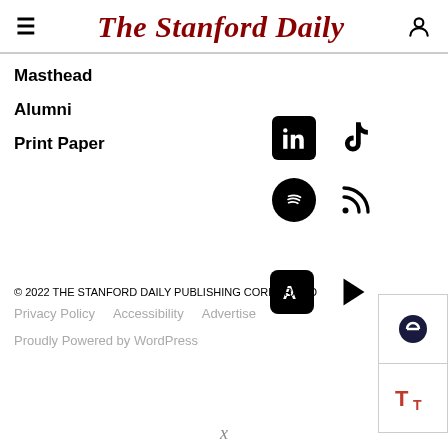The Stanford Daily
Masthead
Alumni
Print Paper
[Figure (infographic): Social media icons: LinkedIn, TikTok, Spotify, RSS feed, App Store, Google Play]
© 2022 THE STANFORD DAILY PUBLISHING CORPORATION
Privacy Policy   Accessibility   Advertise
Proudly Powered by WordPress